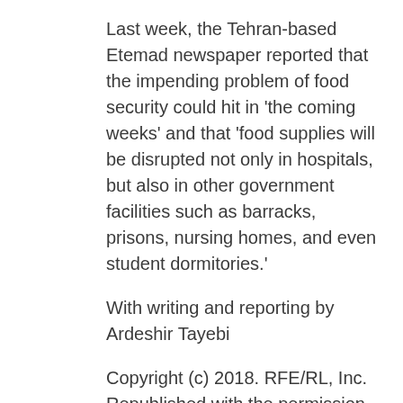Last week, the Tehran-based Etemad newspaper reported that the impending problem of food security could hit in 'the coming weeks' and that 'food supplies will be disrupted not only in hospitals, but also in other government facilities such as barracks, prisons, nursing homes, and even student dormitories.'
With writing and reporting by Ardeshir Tayebi
Copyright (c) 2018. RFE/RL, Inc. Republished with the permission of Radio Free Europe/Radio Liberty, Washington DC 20036.